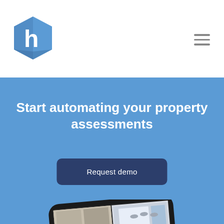[Figure (logo): Blue hexagon logo with lowercase white letter h]
[Figure (other): Hamburger menu icon (three horizontal lines) in top right corner]
Start automating your property assessments
Request demo
[Figure (photo): Smartphone held at an angle showing interior room photos on screen, on blue background]